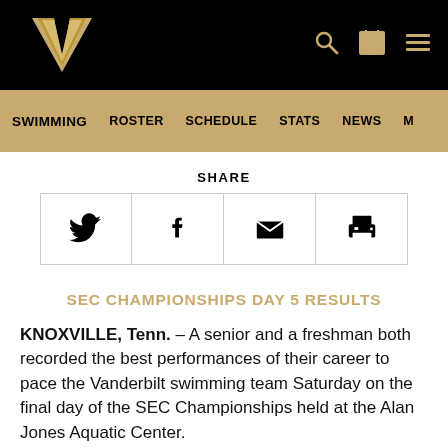Vanderbilt Athletics - Swimming
SWIMMING   ROSTER   SCHEDULE   STATS   NEWS   M
SHARE
[Figure (other): Social share buttons: Twitter, Facebook, Email, Print]
SEC CHAMPIONSHIPS DAY 5 RESULTS
KNOXVILLE, Tenn. – A senior and a freshman both recorded the best performances of their career to pace the Vanderbilt swimming team Saturday on the final day of the SEC Championships held at the Alan Jones Aquatic Center.